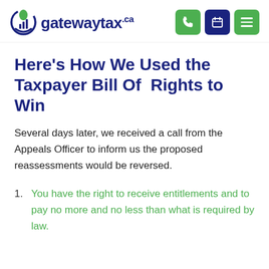gatewaytax.ca
Here’s How We Used the Taxpayer Bill Of  Rights to Win
Several days later, we received a call from the Appeals Officer to inform us the proposed reassessments would be reversed.
You have the right to receive entitlements and to pay no more and no less than what is required by law.